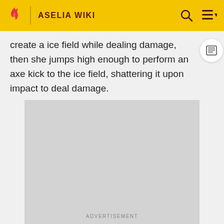ASELIA WIKI
create a ice field while dealing damage, then she jumps high enough to perform an axe kick to the ice field, shattering it upon impact to deal damage.
[Figure (other): Gray placeholder advertisement image]
ADVERTISEMENT